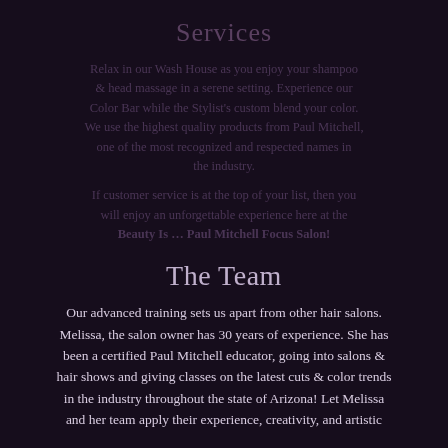Services
Relax in our Wash House as you enjoy your shampoo & head massage in a serene setting. Experience our Color Bar while the Stylist's custom blend your color. We use the highest quality products from Paul Mitchell, one of the most recognized and respected names in the industry.
If customer service is at the top of your list, then you will enjoy an unforgettable experience here at the Beauty Is ... Paul Mitchell Focus Salon!
The Team
Our advanced training sets us apart from other hair salons. Melissa, the salon owner has 30 years of experience. She has been a certified Paul Mitchell educator, going into salons & hair shows and giving classes on the latest cuts & color trends in the industry throughout the state of Arizona! Let Melissa and her team apply their experience, creativity, and artistic